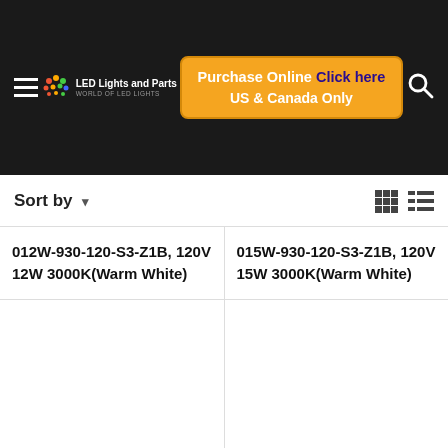LED Lights and Parts — Purchase Online Click here US & Canada Only
Sort by
012W-930-120-S3-Z1B, 120V 12W 3000K(Warm White)
015W-930-120-S3-Z1B, 120V 15W 3000K(Warm White)